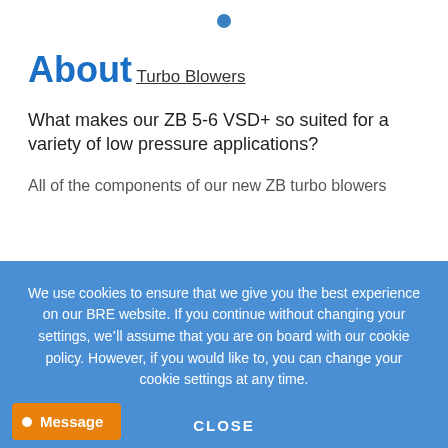[Figure (other): Blue filled circle dot at top center of page]
About
Turbo Blowers
What makes our ZB 5-6 VSD+ so suited for a variety of low pressure applications?
All of the components of our new ZB turbo blowers series
We use cookies to ensure that we give you the best experience on our BRE website. If you continue without changing your settings, weʼll assume that you are on board with our cookie policy. However, if you would like to, you can change your cookie settings at any time.
CLOSE
Message